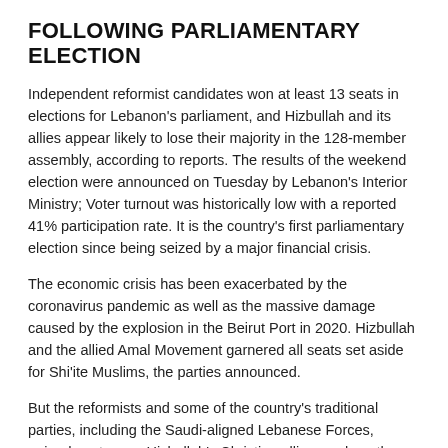FOLLOWING PARLIAMENTARY ELECTION
Independent reformist candidates won at least 13 seats in elections for Lebanon's parliament, and Hizbullah and its allies appear likely to lose their majority in the 128-member assembly, according to reports. The results of the weekend election were announced on Tuesday by Lebanon's Interior Ministry; Voter turnout was historically low with a reported 41% participation rate. It is the country's first parliamentary election since being seized by a major financial crisis.
The economic crisis has been exacerbated by the coronavirus pandemic as well as the massive damage caused by the explosion in the Beirut Port in 2020. Hizbullah and the allied Amal Movement garnered all seats set aside for Shi'ite Muslims, the parties announced.
But the reformists and some of the country's traditional parties, including the Saudi-aligned Lebanese Forces, gained seats over Hizbullah's Christian allies, such as the Free Patriotic Movement, the biggest Christian party in parliament since 2005, which was founded by the country's president, Michel Aoun. The parties and candidates